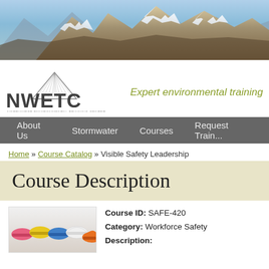[Figure (photo): Mountain range with snow-capped peaks and blue sky banner image]
[Figure (logo): NWETC - Northwest Environmental Training Center logo with mountain graphic and tagline 'Expert environmental training']
About Us   Stormwater   Courses   Request Training
Home » Course Catalog » Visible Safety Leadership
Course Description
[Figure (photo): Colorful hard hats in pink, yellow, blue, white, orange colors]
Course ID: SAFE-420
Category: Workforce Safety
Description: